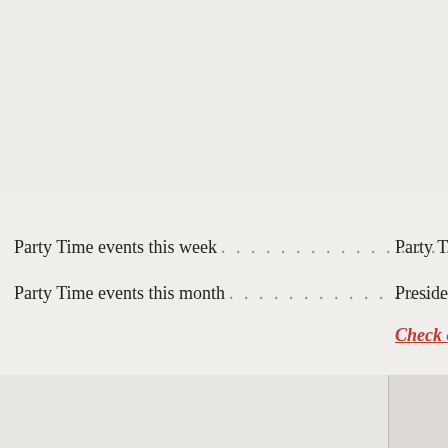Party Time events this week . . . . . . . . . . . . . . . . . . . . 0
Party Time events this month . . . . . . . . . . . . . . . . . . . . 0
Party Time events thi
Presidential invites in
Check out th
[Figure (logo): Sunlight Foundation logo with yellow overlapping circles and teal text]
[Figure (logo): OpenSecrets.org Center for Responsive Politics logo with eye icon]
Join
Get up
Politics
Nonpartisan, independent and nonprofit,